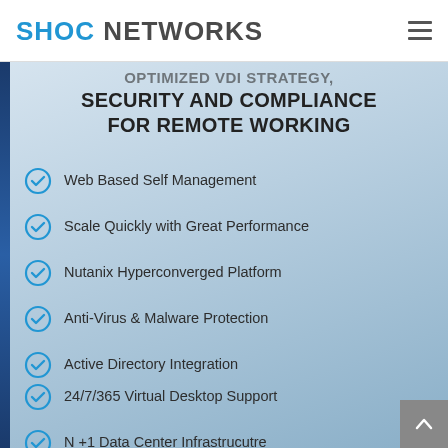SHOC NETWORKS
SECURITY AND COMPLIANCE FOR REMOTE WORKING
Web Based Self Management
Scale Quickly with Great Performance
Nutanix Hyperconverged Platform
Anti-Virus & Malware Protection
Active Directory Integration
24/7/365 Virtual Desktop Support
N +1 Data Center Infrastrucutre
VMware Horizon Platform